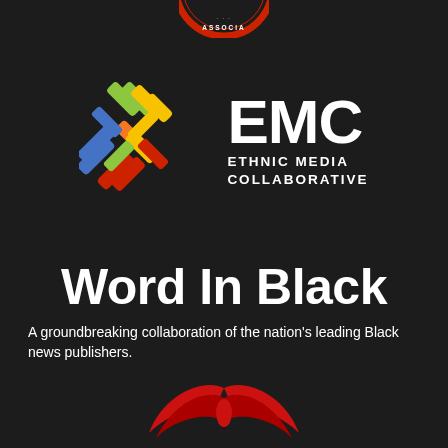[Figure (logo): Partial circular logo at top center, red and white, partially visible, with text ASSOCIA... around the rim]
[Figure (logo): EMC Ethnic Media Collaborative logo: colorful woven/cross pattern in green, blue, yellow, red, orange on left; large white text EMC on right with smaller text ETHNIC MEDIA COLLABORATIVE below]
Word In Black
A groundbreaking collaboration of the nation's leading Black news publishers.
[Figure (logo): Partial red wing/eagle logo at the bottom center, partially cut off]